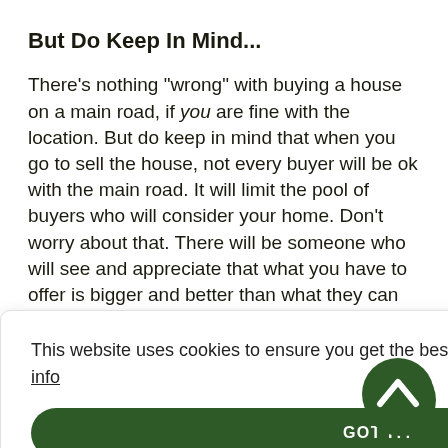But Do Keep In Mind...
There’s nothing “wrong” with buying a house on a main road, if you are fine with the location. But do keep in mind that when you go to sell the house, not every buyer will be ok with the main road. It will limit the pool of buyers who will consider your home. Don’t worry about that. There will be someone who will see and appreciate that what you have to offer is bigger and better than what they can otherwise get. Just don’t forget that you need to account for the main road location when
This website uses cookies to ensure you get the best experience on our website. More info
GOT IT!
aints about
t people
It can be tough pulling out of the driveway
Not as easy to be “neighbourly” (which can